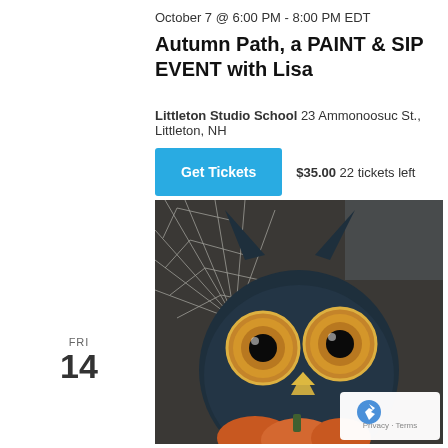October 7 @ 6:00 PM - 8:00 PM EDT
Autumn Path, a PAINT & SIP EVENT with Lisa
Littleton Studio School 23 Ammonoosuc St., Littleton, NH
Get Tickets  $35.00  22 tickets left
FRI
14
[Figure (photo): A close-up painting of a wide-eyed dark owl with large golden eyes and a beak, with a spider web in the background and a pumpkin at the bottom.]